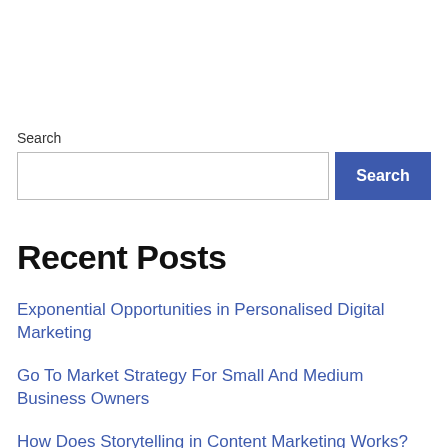Search
Search (input + button)
Recent Posts
Exponential Opportunities in Personalised Digital Marketing
Go To Market Strategy For Small And Medium Business Owners
How Does Storytelling in Content Marketing Works?